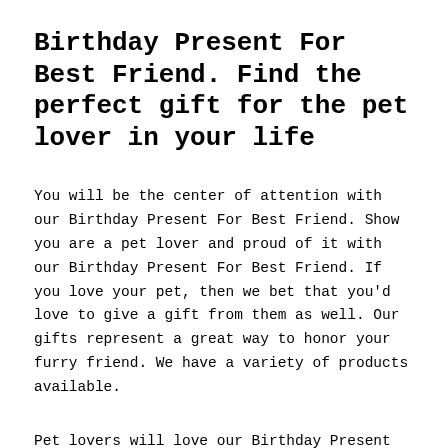Birthday Present For Best Friend. Find the perfect gift for the pet lover in your life
You will be the center of attention with our Birthday Present For Best Friend. Show you are a pet lover and proud of it with our Birthday Present For Best Friend. If you love your pet, then we bet that you'd love to give a gift from them as well. Our gifts represent a great way to honor your furry friend. We have a variety of products available.
Pet lovers will love our Birthday Present For Best Friend. Here you'll find the perfect present for